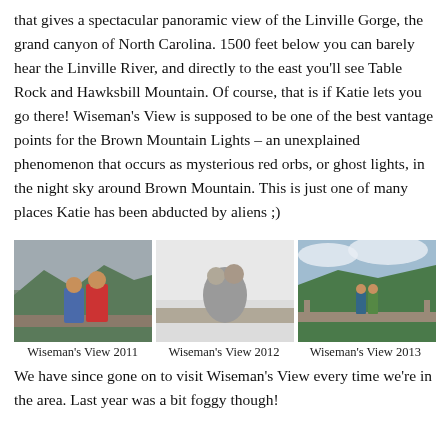that gives a spectacular panoramic view of the Linville Gorge, the grand canyon of North Carolina. 1500 feet below you can barely hear the Linville River, and directly to the east you'll see Table Rock and Hawksbill Mountain. Of course, that is if Katie lets you go there! Wiseman's View is supposed to be one of the best vantage points for the Brown Mountain Lights – an unexplained phenomenon that occurs as mysterious red orbs, or ghost lights, in the night sky around Brown Mountain. This is just one of many places Katie has been abducted by aliens ;)
[Figure (photo): Three side-by-side photos of Wiseman's View overlook from 2011, 2012, and 2013. First shows a couple posing at a stone wall with mountain views. Second shows two people embracing in foggy conditions. Third shows two people standing on a stone observation deck with green mountain valley behind them.]
Wiseman's View 2011  Wiseman's View 2012  Wiseman's View 2013
We have since gone on to visit Wiseman's View every time we're in the area. Last year was a bit foggy though!